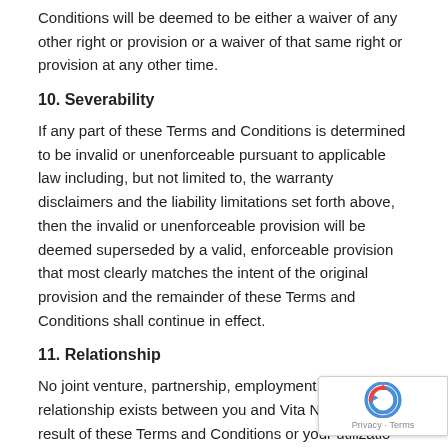Conditions will be deemed to be either a waiver of any other right or provision or a waiver of that same right or provision at any other time.
10. Severability
If any part of these Terms and Conditions is determined to be invalid or unenforceable pursuant to applicable law including, but not limited to, the warranty disclaimers and the liability limitations set forth above, then the invalid or unenforceable provision will be deemed superseded by a valid, enforceable provision that most clearly matches the intent of the original provision and the remainder of these Terms and Conditions shall continue in effect.
11. Relationship
No joint venture, partnership, employment, or agency relationship exists between you and Vita Nuova LLC as a result of these Terms and Conditions or your utilization of the Website.